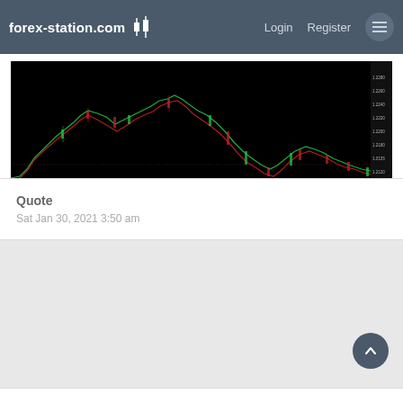forex-station.com  Login  Register
[Figure (continuous-plot): Forex trading chart with candlestick/line data on black background, showing red and green price action lines with significant peak and trough movements, with price scale on right axis and date labels on bottom axis.]
Quote
Sat Jan 30, 2021 3:50 am